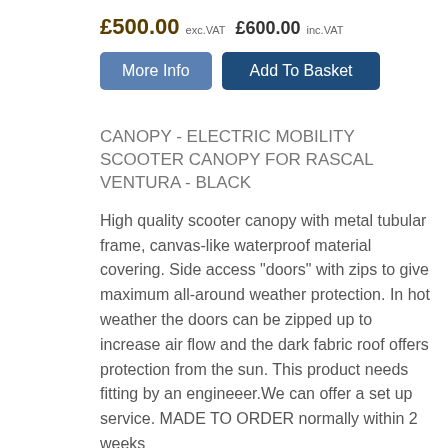£500.00 exc.VAT  £600.00 inc.VAT
More Info   Add To Basket
CANOPY - ELECTRIC MOBILITY SCOOTER CANOPY FOR RASCAL VENTURA - BLACK
High quality scooter canopy with metal tubular frame, canvas-like waterproof material covering. Side access "doors" with zips to give maximum all-around weather protection. In hot weather the doors can be zipped up to increase air flow and the dark fabric roof offers protection from the sun. This product needs fitting by an engineeer.We can offer a set up service. MADE TO ORDER normally within 2 weeks